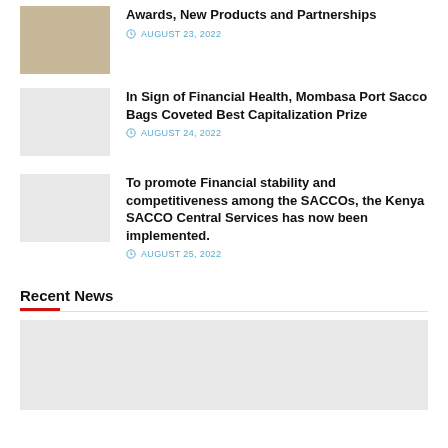[Figure (photo): Thumbnail photo of a person in yellow clothing at an event]
Awards, New Products and Partnerships
AUGUST 23, 2022
[Figure (photo): Blank/grey thumbnail image placeholder]
In Sign of Financial Health, Mombasa Port Sacco Bags Coveted Best Capitalization Prize
AUGUST 24, 2022
[Figure (photo): Blank/grey thumbnail image placeholder]
To promote Financial stability and competitiveness among the SACCOs, the Kenya SACCO Central Services has now been implemented.
AUGUST 25, 2022
Recent News
[Figure (photo): Large blank/grey image placeholder for recent news article]